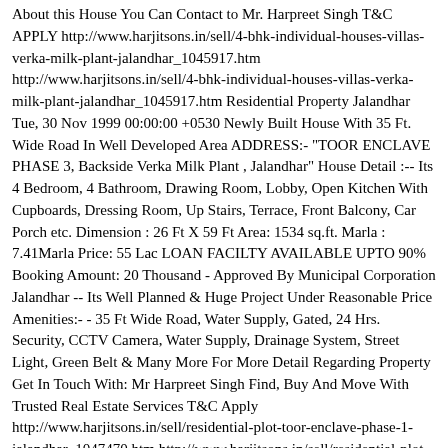About this House You Can Contact to Mr. Harpreet Singh T&C APPLY http://www.harjitsons.in/sell/4-bhk-individual-houses-villas-verka-milk-plant-jalandhar_1045917.htm http://www.harjitsons.in/sell/4-bhk-individual-houses-villas-verka-milk-plant-jalandhar_1045917.htm Residential Property Jalandhar Tue, 30 Nov 1999 00:00:00 +0530 Newly Built House With 35 Ft. Wide Road In Well Developed Area ADDRESS:- "TOOR ENCLAVE PHASE 3, Backside Verka Milk Plant , Jalandhar" House Detail :-- Its 4 Bedroom, 4 Bathroom, Drawing Room, Lobby, Open Kitchen With Cupboards, Dressing Room, Up Stairs, Terrace, Front Balcony, Car Porch etc. Dimension : 26 Ft X 59 Ft Area: 1534 sq.ft. Marla : 7.41Marla Price: 55 Lac LOAN FACILTY AVAILABLE UPTO 90% Booking Amount: 20 Thousand - Approved By Municipal Corporation Jalandhar -- Its Well Planned & Huge Project Under Reasonable Price Amenities:- - 35 Ft Wide Road, Water Supply, Gated, 24 Hrs. Security, CCTV Camera, Water Supply, Drainage System, Street Light, Green Belt & Many More For More Detail Regarding Property Get In Touch With: Mr Harpreet Singh Find, Buy And Move With Trusted Real Estate Services T&C Apply http://www.harjitsons.in/sell/residential-plot-toor-enclave-phase-1-jalandhar_1047470.htm http://www.harjitsons.in/sell/residential-plot-toor-enclave-phase-1-jalandhar_1047470.htm Residential Property Jalandhar Sat, 28 May 2022 00:00:00 +0530 Buy Dream Property !! Your Chance NOW... 3 Side Open Residential/7…..ntial Plot Ready To Sale In Jalandhar